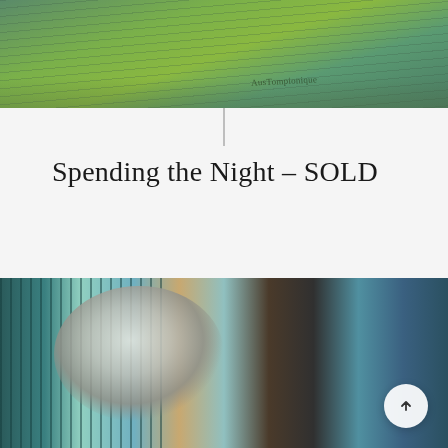[Figure (photo): Artwork photo at the top of the page showing an abstract watercolor/mixed media piece with green and teal tones, with an artist's signature visible.]
Spending the Night – SOLD
[Figure (photo): Artwork photo at the bottom of the page showing an abstract mixed media collage with teal, blue, tan, and dark tones, featuring circular forms and layered textures.]